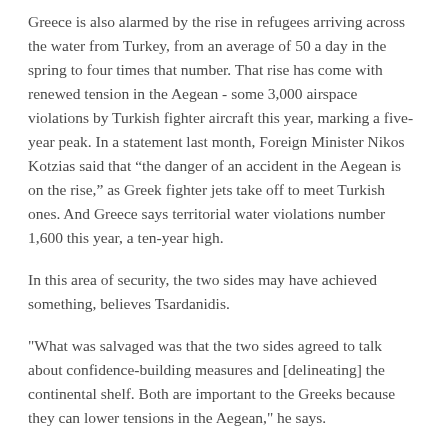Greece is also alarmed by the rise in refugees arriving across the water from Turkey, from an average of 50 a day in the spring to four times that number. That rise has come with renewed tension in the Aegean - some 3,000 airspace violations by Turkish fighter aircraft this year, marking a five-year peak. In a statement last month, Foreign Minister Nikos Kotzias said that “the danger of an accident in the Aegean is on the rise,” as Greek fighter jets take off to meet Turkish ones. And Greece says territorial water violations number 1,600 this year, a ten-year high.
In this area of security, the two sides may have achieved something, believes Tsardanidis.
"What was salvaged was that the two sides agreed to talk about confidence-building measures and [delineating] the continental shelf. Both are important to the Greeks because they can lower tensions in the Aegean," he says.